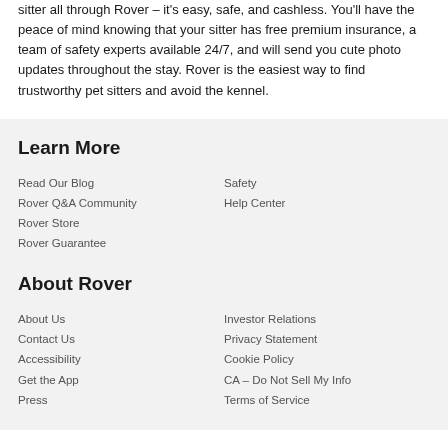sitter all through Rover – it's easy, safe, and cashless. You'll have the peace of mind knowing that your sitter has free premium insurance, a team of safety experts available 24/7, and will send you cute photo updates throughout the stay. Rover is the easiest way to find trustworthy pet sitters and avoid the kennel.
Learn More
Read Our Blog
Rover Q&A Community
Rover Store
Rover Guarantee
Safety
Help Center
About Rover
About Us
Contact Us
Accessibility
Get the App
Press
Investor Relations
Privacy Statement
Cookie Policy
CA – Do Not Sell My Info
Terms of Service